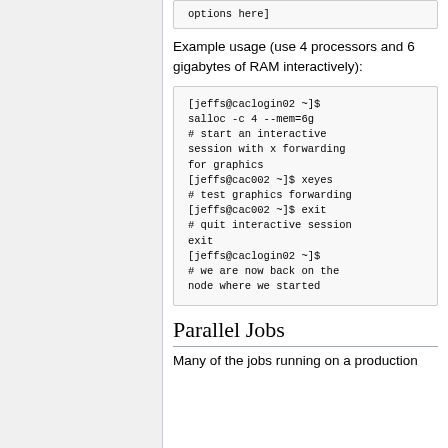options here]
Example usage (use 4 processors and 6 gigabytes of RAM interactively):
[jeffs@caclogin02 ~]$ salloc -c 4 --mem=6g
# start an interactive session with x forwarding for graphics
[jeffs@cac002 ~]$ xeyes
# test graphics forwarding
[jeffs@cac002 ~]$ exit
# quit interactive session
exit
[jeffs@caclogin02 ~]$
# we are now back on the node where we started
Parallel Jobs
Many of the jobs running on a production cluster are optimized to run on the